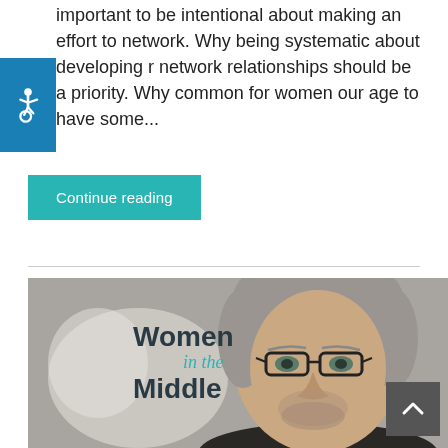important to be intentional about making an effort to network. Why being systematic about developing r network relationships should be a priority. Why common for women our age to have some...
[Figure (other): Accessibility icon - wheelchair symbol on blue background]
Continue reading
[Figure (photo): Photo of a middle-aged man with gray hair and glasses, with 'Women in the Middle' text overlay. The image is a podcast or blog branding image.]